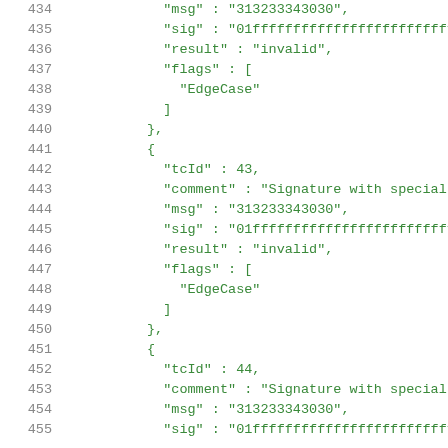434   "msg" : "313233343030",
435   "sig" : "01ffffffffffffffffffffffffffffff
436   "result" : "invalid",
437   "flags" : [
438     "EdgeCase"
439   ]
440 },
441 {
442   "tcId" : 43,
443   "comment" : "Signature with special c
444   "msg" : "313233343030",
445   "sig" : "01ffffffffffffffffffffffffffffff
446   "result" : "invalid",
447   "flags" : [
448     "EdgeCase"
449   ]
450 },
451 {
452   "tcId" : 44,
453   "comment" : "Signature with special c
454   "msg" : "313233343030",
455   "sig" : "01ffffffffffffffffffffffffffffff